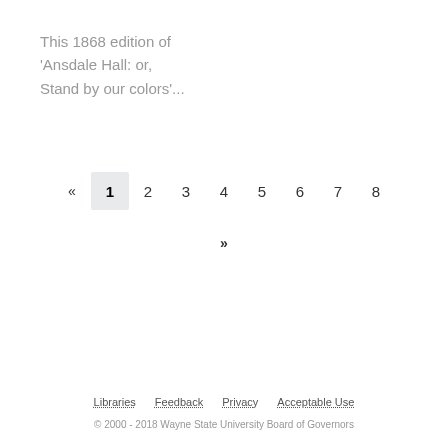This 1868 edition of
'Ansdale Hall: or,
Stand by our colors'...
« 1 2 3 4 5 6 7 8
»
Libraries   Feedback   Privacy   Acceptable Use
© 2000 - 2018 Wayne State University Board of Governors